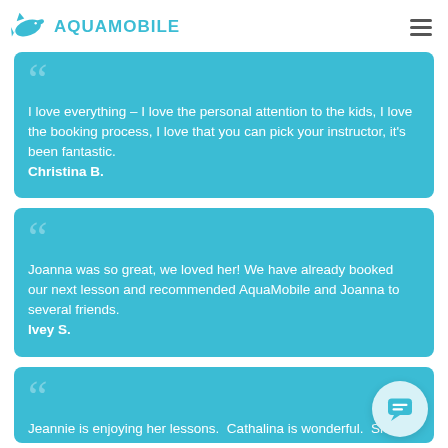AQUAMOBILE
I love everything – I love the personal attention to the kids, I love the booking process, I love that you can pick your instructor, it's been fantastic. Christina B.
Joanna was so great, we loved her! We have already booked our next lesson and recommended AquaMobile and Joanna to several friends. Ivey S.
Jeannie is enjoying her lessons. Cathalina is wonderful. She has made Jeannie feel